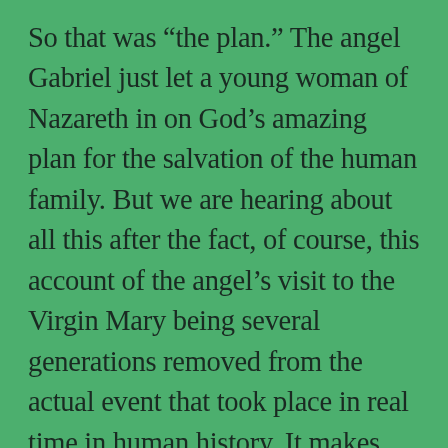So that was “the plan.” The angel Gabriel just let a young woman of Nazareth in on God’s amazing plan for the salvation of the human family. But we are hearing about all this after the fact, of course, this account of the angel’s visit to the Virgin Mary being several generations removed from the actual event that took place in real time in human history. It makes me wonder. And here I’m allowing my undergrad Philosophy degree to take me on a wild tangent—which happens every now and again. We’d have to say …